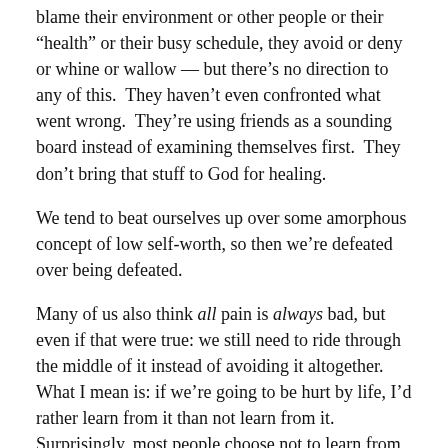blame their environment or other people or their "health" or their busy schedule, they avoid or deny or whine or wallow — but there's no direction to any of this. They haven't even confronted what went wrong. They're using friends as a sounding board instead of examining themselves first. They don't bring that stuff to God for healing.
We tend to beat ourselves up over some amorphous concept of low self-worth, so then we're defeated over being defeated.
Many of us also think all pain is always bad, but even if that were true: we still need to ride through the middle of it instead of avoiding it altogether. What I mean is: if we're going to be hurt by life, I'd rather learn from it than not learn from it. Surprisingly, most people choose not to learn from it, which is like gaining XP in an RPG and then deliberately not saving your game.